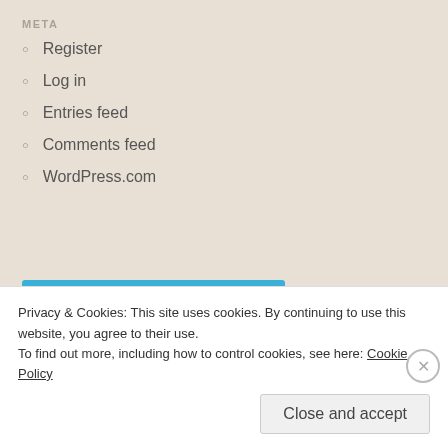META
Register
Log in
Entries feed
Comments feed
WordPress.com
[Figure (other): Follow Make Your Own Taste button with WordPress logo]
Advertisements
[Figure (other): Pocket Casts advertisement banner with red background and Pocket Casts logo and text]
Privacy & Cookies: This site uses cookies. By continuing to use this website, you agree to their use.
To find out more, including how to control cookies, see here: Cookie Policy
Close and accept